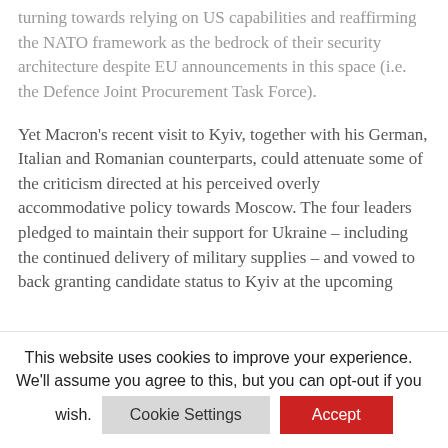turning towards relying on US capabilities and reaffirming the NATO framework as the bedrock of their security architecture despite EU announcements in this space (i.e. the Defence Joint Procurement Task Force).
Yet Macron's recent visit to Kyiv, together with his German, Italian and Romanian counterparts, could attenuate some of the criticism directed at his perceived overly accommodative policy towards Moscow. The four leaders pledged to maintain their support for Ukraine – including the continued delivery of military supplies – and vowed to back granting candidate status to Kyiv at the upcoming
This website uses cookies to improve your experience. We'll assume you agree to this, but you can opt-out if you wish.